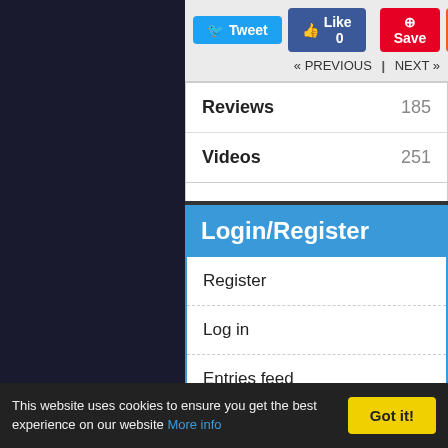[Figure (screenshot): Dark tiled background pattern with PlayStation-style icons (circles, triangles, squares, X) repeated in a grid on dark navy background]
Tweet | Like 0 | Save | Share | « PREVIOUS | NEXT »
|  |  |
| --- | --- |
| Reviews | 185 |
| Videos | 251 |
Login/Register
Register
Log in
Entries feed
Comments feed
WordPress.org
This website uses cookies to ensure you get the best experience on our website More info
Got it!